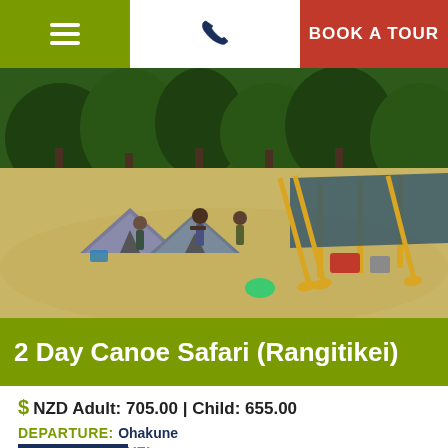≡  📞  BOOK A TOUR
[Figure (photo): Outdoor camping scene beside a river with tents, people, and canoe paddles leaning against a tarp shelter structure, on dry grassy ground with trees in the background]
2 Day Canoe Safari (Rangitikei)
$ NZD Adult: 705.00 | Child: 655.00
DEPARTURE: Ohakune
DIFFICULTY LEVEL: